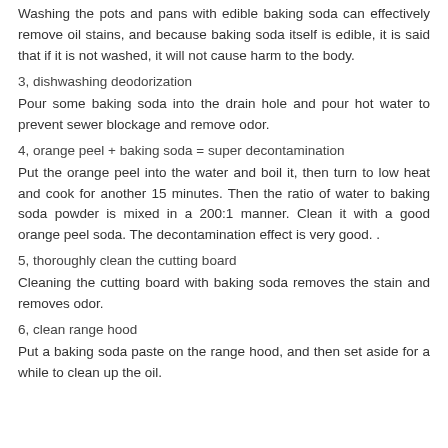Washing the pots and pans with edible baking soda can effectively remove oil stains, and because baking soda itself is edible, it is said that if it is not washed, it will not cause harm to the body.
3, dishwashing deodorization
Pour some baking soda into the drain hole and pour hot water to prevent sewer blockage and remove odor.
4, orange peel + baking soda = super decontamination
Put the orange peel into the water and boil it, then turn to low heat and cook for another 15 minutes. Then the ratio of water to baking soda powder is mixed in a 200:1 manner. Clean it with a good orange peel soda. The decontamination effect is very good. .
5, thoroughly clean the cutting board
Cleaning the cutting board with baking soda removes the stain and removes odor.
6, clean range hood
Put a baking soda paste on the range hood, and then set aside for a while to clean up the oil.